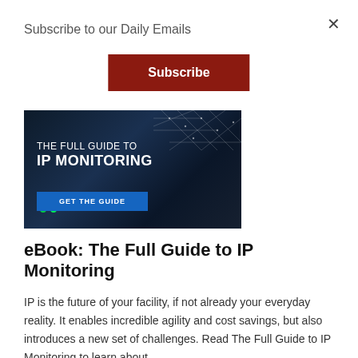Subscribe to our Daily Emails
Subscribe
[Figure (illustration): Dark-themed advertisement image for 'The Full Guide to IP Monitoring' eBook, showing network monitoring screens in the background with text 'THE FULL GUIDE TO IP MONITORING' and a blue button 'GET THE GUIDE']
eBook: The Full Guide to IP Monitoring
IP is the future of your facility, if not already your everyday reality. It enables incredible agility and cost savings, but also introduces a new set of challenges. Read The Full Guide to IP Monitoring to learn about